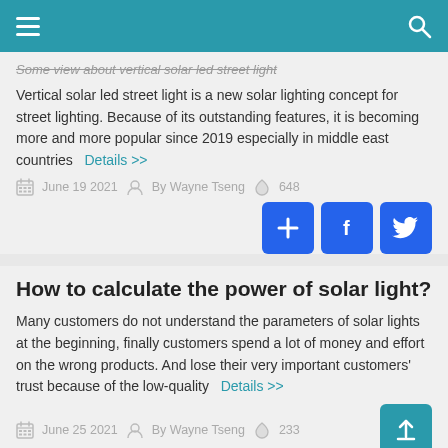Some view about vertical solar led street light
Vertical solar led street light is a new solar lighting concept for street lighting. Because of its outstanding features, it is becoming more and more popular since 2019 especially in middle east countries  Details >>
June 19 2021   By Wayne Tseng   648
[Figure (infographic): Social share buttons: plus, Facebook, Twitter]
How to calculate the power of solar light?
Many customers do not understand the parameters of solar lights at the beginning, finally customers spend a lot of money and effort on the wrong products. And lose their very important customers' trust because of the low-quality  Details >>
June 25 2021   By Wayne Tseng   233
[Figure (infographic): Back to top button and partial share buttons (Facebook, Twitter)]